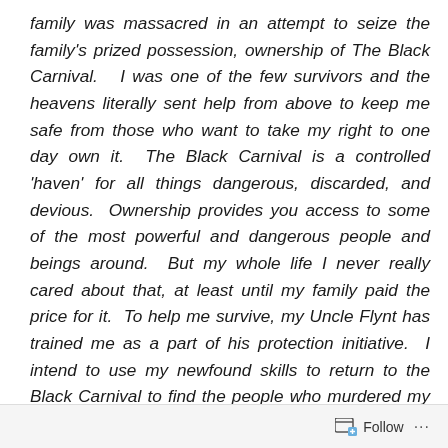family was massacred in an attempt to seize the family's prized possession, ownership of The Black Carnival.  I was one of the few survivors and the heavens literally sent help from above to keep me safe from those who want to take my right to one day own it.  The Black Carnival is a controlled 'haven' for all things dangerous, discarded, and devious.  Ownership provides you access to some of the most powerful and dangerous people and beings around.  But my whole life I never really cared about that, at least until my family paid the price for it.  To help me survive, my Uncle Flynt has trained me as a part of his protection initiative.  I intend to use my newfound skills to return to the Black Carnival to find the people who murdered my family.  My uncle and I now work as a part of the Black Carnival Sheriff's Office, occasionally, taking out the
Follow ...